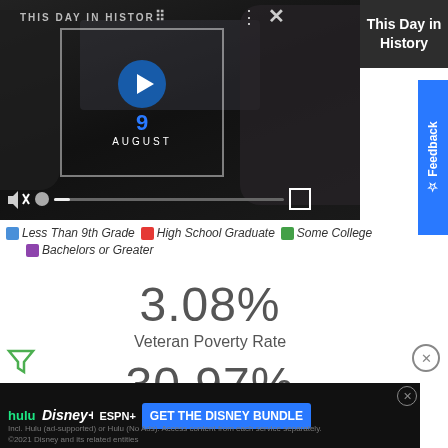[Figure (screenshot): Video player overlay showing 'This Day in History' with play button and AUGUST label, mute and fullscreen controls, progress bar]
This Day in History
Feedback
Less Than 9th Grade   High School Graduate   Some College   Bachelors or Greater
3.08%
Veteran Poverty Rate
30.97%
Veteran Disability Rate
[Figure (screenshot): Advertisement banner: Hulu, Disney+, ESPN+ - GET THE DISNEY BUNDLE with fine print about 2021 Disney]